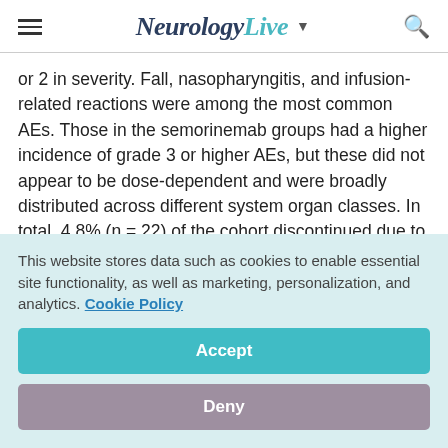NeurologyLive
or 2 in severity. Fall, nasopharyngitis, and infusion-related reactions were among the most common AEs. Those in the semorinemab groups had a higher incidence of grade 3 or higher AEs, but these did not appear to be dose-dependent and were broadly distributed across different system organ classes. In total, 4.8% (n = 22) of the cohort discontinued due to AEs, with a higher proportion in the placebo arm.
This website stores data such as cookies to enable essential site functionality, as well as marketing, personalization, and analytics. Cookie Policy
Accept
Deny